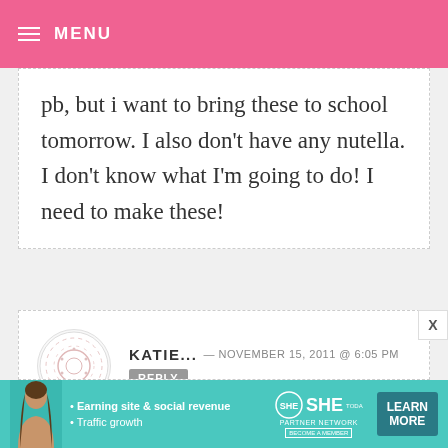MENU
pb, but i want to bring these to school tomorrow. I also don't have any nutella. I don't know what I'm going to do! I need to make these!
KATIE... — NOVEMBER 15, 2011 @ 6:05 PM  REPLY
Hi Bakerella…..
can i just ommit peanut butter…..allergic to peanuts….do reply really wanna make em asappppp…..
[Figure (infographic): SHE Partner Network advertisement banner with woman photo, bullet points about Earning site & social revenue and Traffic growth, SHE logo, and Learn More button]